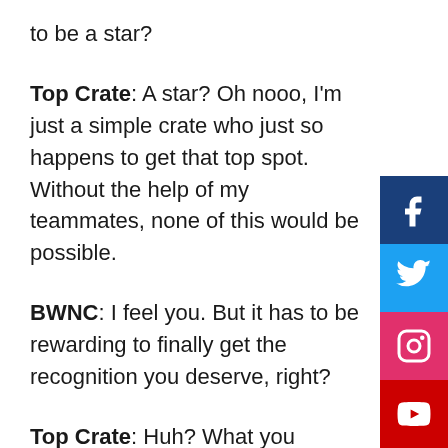to be a star?
Top Crate: A star? Oh nooo, I'm just a simple crate who just so happens to get that top spot. Without the help of my teammates, none of this would be possible.
BWNC: I feel you. But it has to be rewarding to finally get the recognition you deserve, right?
Top Crate: Huh? What you mean?
BWNC: Like, I'm saying, it's been a long t